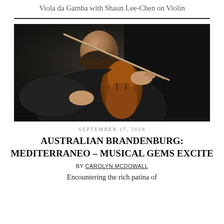Viola da Gamba with Shaun Lee-Chen on Violin
[Figure (photo): A bearded man wearing glasses and a dark shirt playing violin, photographed close-up in dark/moody lighting, bowing the instrument.]
SEPTEMBER 17, 2018
AUSTRALIAN BRANDENBURG: MEDITERRANEO – MUSICAL GEMS EXCITE
BY CAROLYN MCDOWALL
Encountering the rich patina of